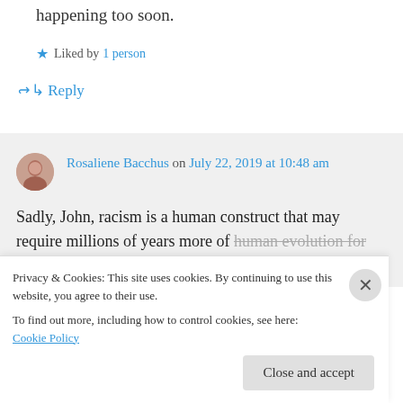happening too soon.
Liked by 1 person
↳ Reply
Rosaliene Bacchus on July 22, 2019 at 10:48 am
Sadly, John, racism is a human construct that may require millions of years more of human evolution for total erasure. And
Privacy & Cookies: This site uses cookies. By continuing to use this website, you agree to their use.
To find out more, including how to control cookies, see here: Cookie Policy
Close and accept